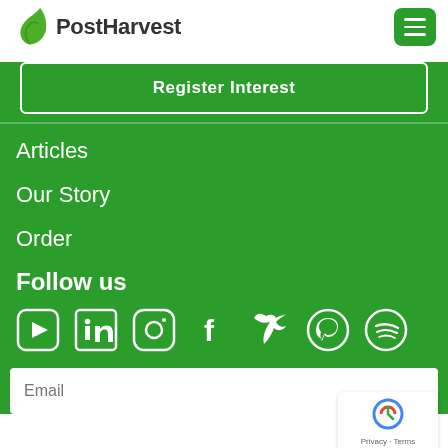[Figure (logo): PostHarvest logo: green leaf icon and 'PostHarvest' wordmark in dark gray]
[Figure (illustration): Green hamburger menu button (three horizontal lines) in top right corner]
Register Interest
Articles
Our Story
Order
Follow us
[Figure (infographic): Social media icons row: YouTube, LinkedIn, Instagram, Facebook, Twitter, Pinterest, Spotify — white icons on green background]
Email